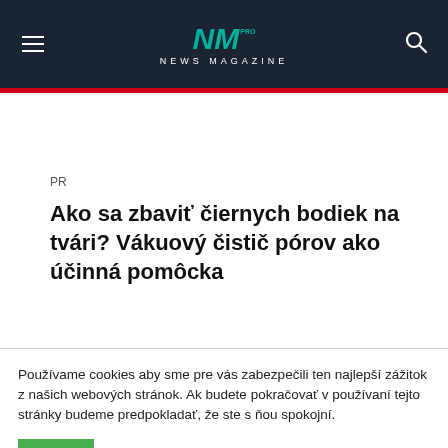NEWS MAGAZINE
PR
Ako sa zbaviť čiernych bodiek na tvári? Vákuový čistič pórov ako účinná pomôcka
Používame cookies aby sme pre vás zabezpečili ten najlepší zážitok z našich webových stránok. Ak budete pokračovať v používaní tejto stránky budeme predpokladať, že ste s ňou spokojní.